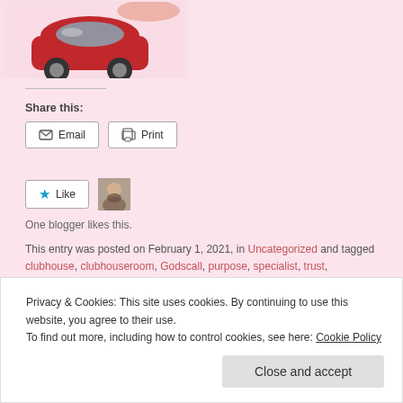[Figure (photo): Red car toy model being held by hands, car insurance blog image]
Share this:
Email  Print
Like
One blogger likes this.
This entry was posted on February 1, 2021, in Uncategorized and tagged clubhouse, clubhouseroom, Godscall, purpose, specialist, trust, understanding.
Leave a comment
Privacy & Cookies: This site uses cookies. By continuing to use this website, you agree to their use. To find out more, including how to control cookies, see here: Cookie Policy